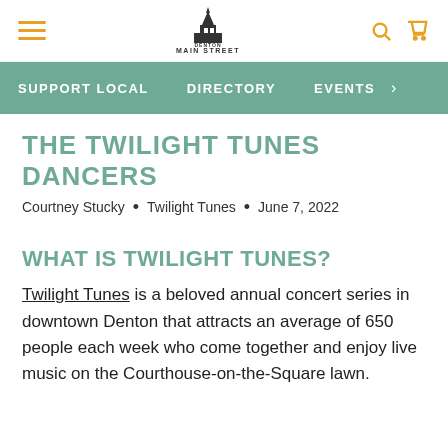Denton Main Street — site header with hamburger menu, logo, search and cart icons
SUPPORT LOCAL   DIRECTORY   EVENTS
THE TWILIGHT TUNES DANCERS
Courtney Stucky • Twilight Tunes • June 7, 2022
WHAT IS TWILIGHT TUNES?
Twilight Tunes is a beloved annual concert series in downtown Denton that attracts an average of 650 people each week who come together and enjoy live music on the Courthouse-on-the-Square lawn.